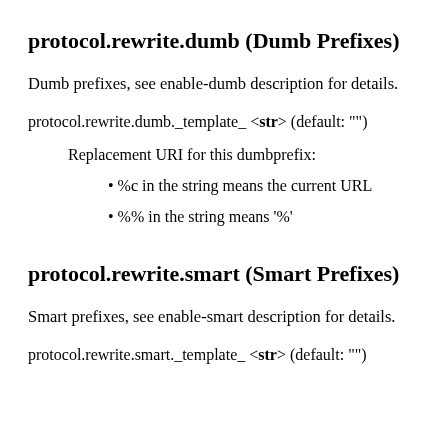protocol.rewrite.dumb (Dumb Prefixes)
Dumb prefixes, see enable-dumb description for details.
protocol.rewrite.dumb._template_ <str> (default: "")
Replacement URI for this dumbprefix:
• %c in the string means the current URL
• %% in the string means '%'
protocol.rewrite.smart (Smart Prefixes)
Smart prefixes, see enable-smart description for details.
protocol.rewrite.smart._template_ <str> (default: "")